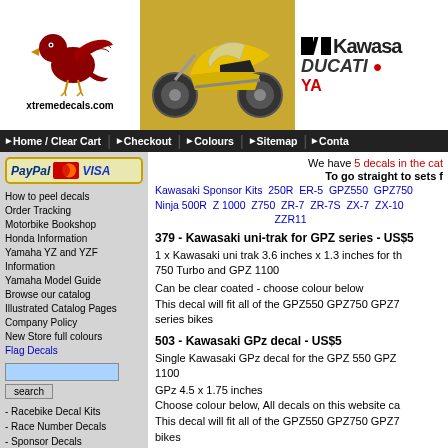[Figure (logo): Red eagle logo with xtremedecals.com text below]
[Figure (photo): Yellow Ducati superbike motorcycle on golden background]
[Figure (logo): Kawasaki, DUCATI, and Yamaha brand logos]
Home / Clear Cart   Checkout   Colours   Sitemap   Contact
[Figure (logo): PayPal, MasterCard, and VISA payment logos]
How to peel decals
Order Tracking
Motorbike Bookshop
Honda Information
Yamaha YZ and YZF Information
Yamaha Model Guide
Browse our catalog
Illustrated Catalog Pages
Company Policy
New Store full colours
Flag Decals
- Racebike Decal Kits
- Race Number Decals
- Sponsor Decals
- Wheel Rim Decals
Aprilia Sponsor Sets
- Ducati Customers Bikes
- Manufacturer Decals
- Ducati Books
We have 5 decals in the category. To go straight to sets for:
Kawasaki Sponsor Kits  250R  ER-5  GPZ550  GPZ750  Ninja 500R  Z 1000  Z750  ZR-7  ZR-7S  ZX-7  ZX-10  ZZR11
379 - Kawasaki uni-trak for GPZ series - US$5
1 x Kawasaki uni trak 3.6 inches x 1.3 inches for the 750 Turbo and GPZ 1100
Can be clear coated - choose colour below
This decal will fit all of the GPZ550 GPZ750 GPZ7 series bikes
503 - Kawasaki GPz decal - US$5
Single Kawasaki GPz decal for the GPZ 550 GPZ 1100
GPz 4.5 x 1.75 inches
Choose colour below, All decals on this website ca
This decal will fit all of the GPZ550 GPZ750 GPZ7 bikes